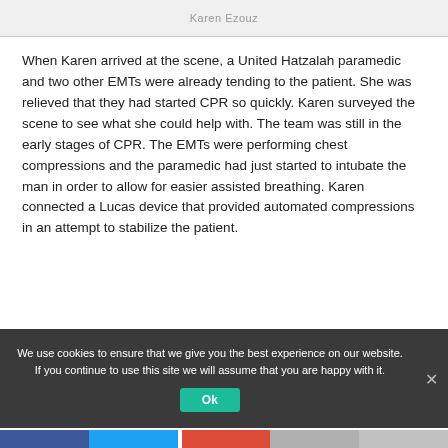Karen Ezouz
When Karen arrived at the scene, a United Hatzalah paramedic and two other EMTs were already tending to the patient. She was relieved that they had started CPR so quickly. Karen surveyed the scene to see what she could help with. The team was still in the early stages of CPR. The EMTs were performing chest compressions and the paramedic had just started to intubate the man in order to allow for easier assisted breathing. Karen connected a Lucas device that provided automated compressions in an attempt to stabilize the patient.
We use cookies to ensure that we give you the best experience on our website. If you continue to use this site we will assume that you are happy with it.